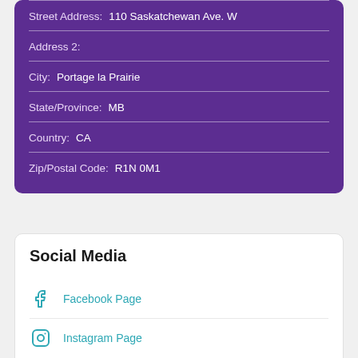Street Address: 110 Saskatchewan Ave. W
Address 2:
City: Portage la Prairie
State/Province: MB
Country: CA
Zip/Postal Code: R1N 0M1
Social Media
Facebook Page
Instagram Page